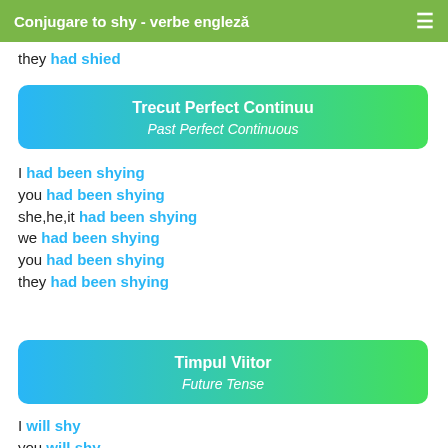Conjugare to shy - verbe engleză
they had shied
Trecut Perfect Continuu
Past Perfect Continuous
I had been shying
you had been shying
she,he,it had been shying
we had been shying
you had been shying
they had been shying
Timpul Viitor
Future Tense
I will shy
you will shy
she,he,it will shy